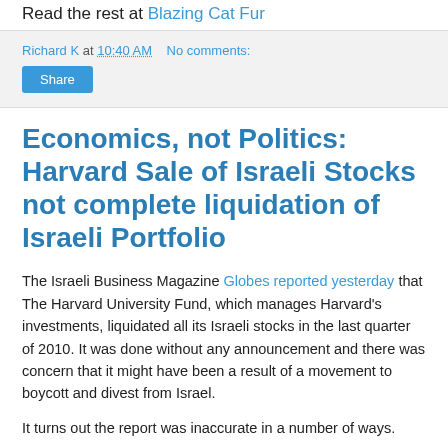Read the rest at Blazing Cat Fur
Richard K at 10:40 AM   No comments:
Share
Economics, not Politics: Harvard Sale of Israeli Stocks not complete liquidation of Israeli Portfolio
The Israeli Business Magazine Globes reported yesterday that The Harvard University Fund, which manages Harvard's investments, liquidated all its Israeli stocks in the last quarter of 2010. It was done without any announcement and there was concern that it might have been a result of a movement to boycott and divest from Israel.
It turns out the report was inaccurate in a number of ways.